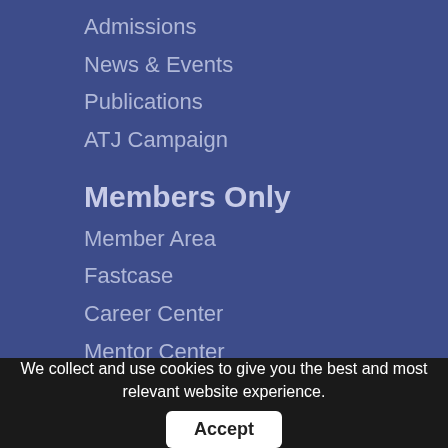Admissions
News & Events
Publications
ATJ Campaign
Members Only
Member Area
Fastcase
Career Center
Mentor Center
ReliaGuide
Stay Connected
State Bar of Michigan
306 Townsend St
We collect and use cookies to give you the best and most relevant website experience.  Accept